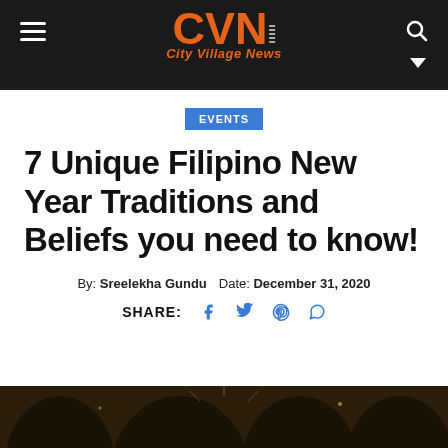City Village News
EVENTS
7 Unique Filipino New Year Traditions and Beliefs you need to know!
By: Sreelekha Gundu  Date: December 31, 2020
SHARE: [Facebook] [Twitter] [Pinterest] [WhatsApp]
[Figure (photo): Dark bottom strip showing silhouette/fireworks background image]